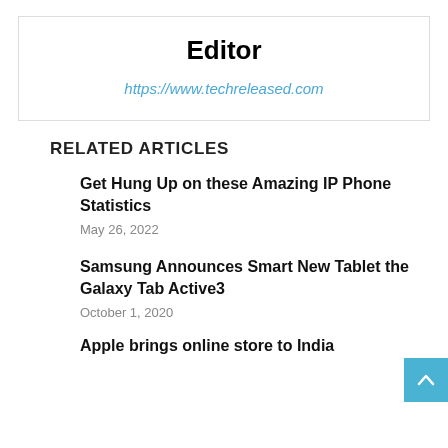Editor
https://www.techreleased.com
RELATED ARTICLES
Get Hung Up on these Amazing IP Phone Statistics
May 26, 2022
Samsung Announces Smart New Tablet the Galaxy Tab Active3
October 1, 2020
Apple brings online store to India